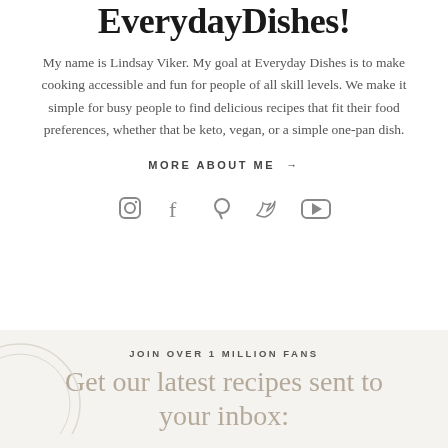EverydayDishes!
My name is Lindsay Viker. My goal at Everyday Dishes is to make cooking accessible and fun for people of all skill levels. We make it simple for busy people to find delicious recipes that fit their food preferences, whether that be keto, vegan, or a simple one-pan dish.
MORE ABOUT ME →
[Figure (infographic): Social media icons row: Instagram, Facebook, Pinterest, Twitter, YouTube]
JOIN OVER 1 MILLION FANS
Get our latest recipes sent to your inbox: